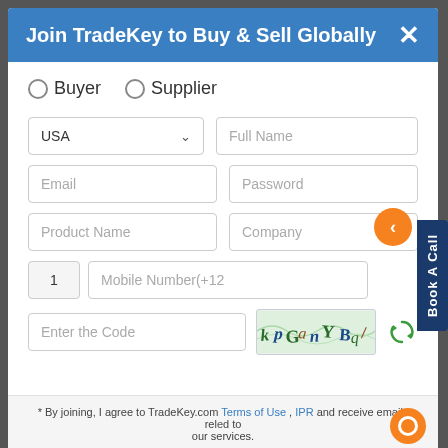Join TradeKey to Buy & Sell Globally
○Buyer  ○Supplier
[Figure (screenshot): Registration form with fields: country dropdown (USA), Full Name, Email, Password, Product Name, Company, Mobile Number (+12), Enter the Code, CAPTCHA image, refresh button]
* By joining, I agree to TradeKey.com Terms of Use , IPR and receive emails related to our services.